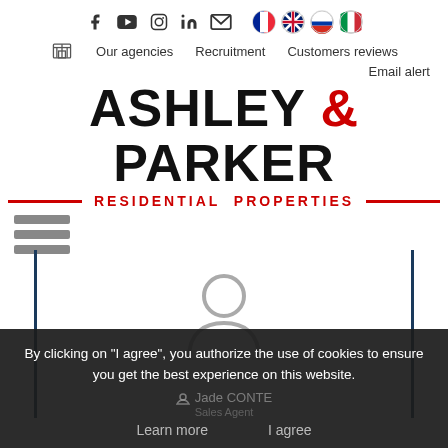Social icons: Facebook, YouTube, Instagram, LinkedIn, Email, and flag icons for French, English, Russian, Italian
Our agencies | Recruitment | Customers reviews
Email alert
ASHLEY & PARKER
RESIDENTIAL PROPERTIES
[Figure (illustration): Hamburger menu icon (three horizontal bars)]
[Figure (illustration): Person/user silhouette placeholder icon in grey]
By clicking on "I agree", you authorize the use of cookies to ensure you get the best experience on this website.
Jade CONTE
Sales Agent
Learn more    I agree